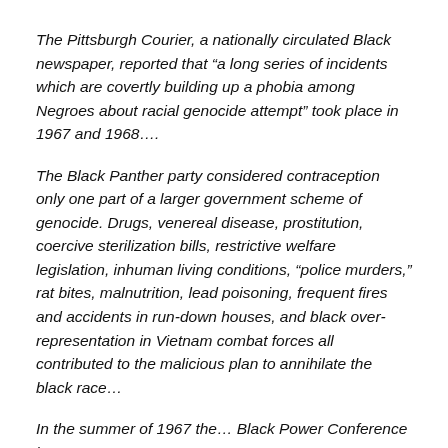The Pittsburgh Courier, a nationally circulated Black newspaper, reported that “a long series of incidents which are covertly building up a phobia among Negroes about racial genocide attempt” took place in 1967 and 1968….
The Black Panther party considered contraception only one part of a larger government scheme of genocide. Drugs, venereal disease, prostitution, coercive sterilization bills, restrictive welfare legislation, inhuman living conditions, “police murders,” rat bites, malnutrition, lead poisoning, frequent fires and accidents in run-down houses, and black over-representation in Vietnam combat forces all contributed to the malicious plan to annihilate the black race…
In the summer of 1967 the… Black Power Conference in